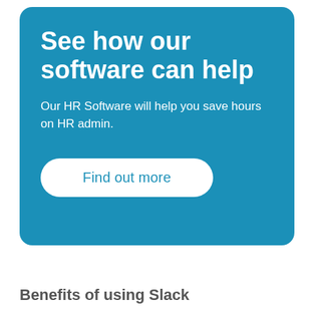See how our software can help
Our HR Software will help you save hours on HR admin.
Find out more
Benefits of using Slack